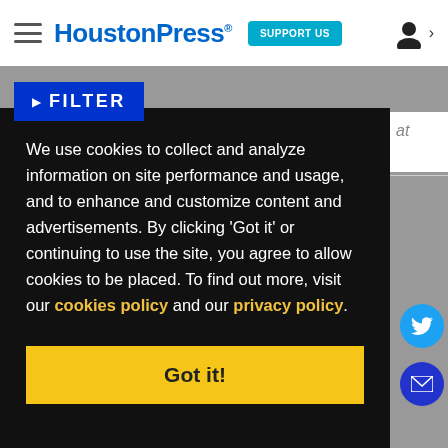HoustonPress | SUPPORT US
FILTER
We use cookies to collect and analyze information on site performance and usage, and to enhance and customize content and advertisements. By clicking 'Got it' or continuing to use the site, you agree to allow cookies to be placed. To find out more, visit our cookies policy and our privacy policy.
Got it!